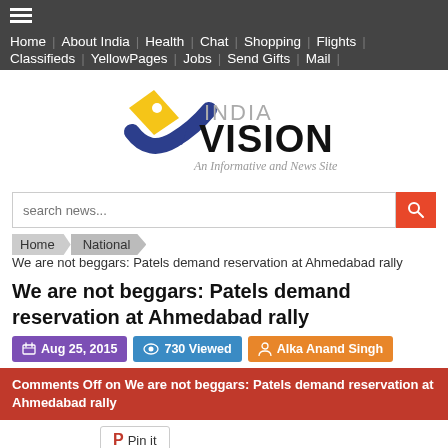Home | About India | Health | Chat | Shopping | Flights | Classifieds | YellowPages | Jobs | Send Gifts | Mail
[Figure (logo): India Vision logo with yellow and blue pen/check mark icon, text INDIA VISION, tagline: An Informative and News Site]
search news...
Home > National > We are not beggars: Patels demand reservation at Ahmedabad rally
We are not beggars: Patels demand reservation at Ahmedabad rally
Aug 25, 2015   730 Viewed   Alka Anand Singh
Comments Off on We are not beggars: Patels demand reservation at Ahmedabad rally